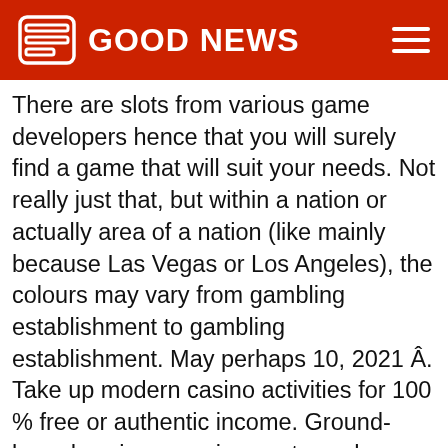GOOD NEWS
There are slots from various game developers hence that you will surely find a game that will suit your needs. Not really just that, but within a nation or actually area of a nation (like mainly because Las Vegas or Los Angeles), the colours may vary from gambling establishment to gambling establishment. May perhaps 10, 2021 Â. Take up modern casino activities for 100 % free or authentic income. Ground-based casino experience at own home : Only one of the most important perks of playing at an on the net casino is normally that you have a tendency possess to travel to get to the authentic casino